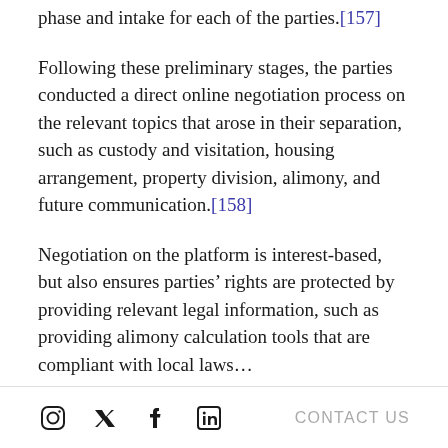phase and intake for each of the parties.[157]
Following these preliminary stages, the parties conducted a direct online negotiation process on the relevant topics that arose in their separation, such as custody and visitation, housing arrangement, property division, alimony, and future communication.[158]
Negotiation on the platform is interest-based, but also ensures parties’ rights are protected by providing relevant legal information, such as providing alimony calculation tools that are compliant with local laws…
CONTACT US